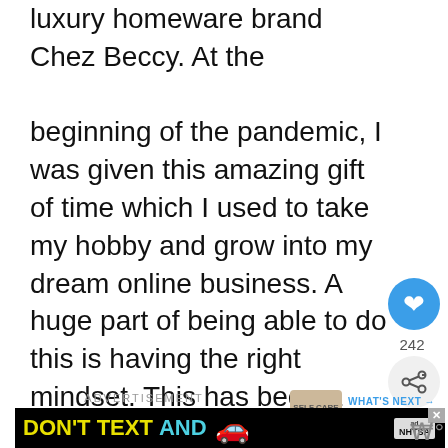luxury homeware brand Chez Beccy. At the beginning of the pandemic, I was given this amazing gift of time which I used to take my hobby and grow into my dream online business. A huge part of being able to do this is having the right mindset. This has been a massive and amazing learning curve and I am really excited to share what I have learnt with you.
242
ADVERTISEMENT
[Figure (screenshot): Advertisement banner: black background with yellow text 'DON'T TEXT' and cyan text 'AND', red car emoji, ad badge and NHTSA logo]